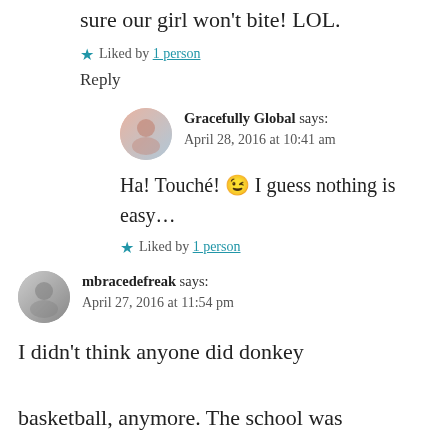sure our girl won't bite! LOL.
★ Liked by 1 person
Reply
Gracefully Global says: April 28, 2016 at 10:41 am
Ha! Touché! 😉 I guess nothing is easy…
★ Liked by 1 person
mbracedefreak says: April 27, 2016 at 11:54 pm
I didn't think anyone did donkey basketball, anymore. The school was